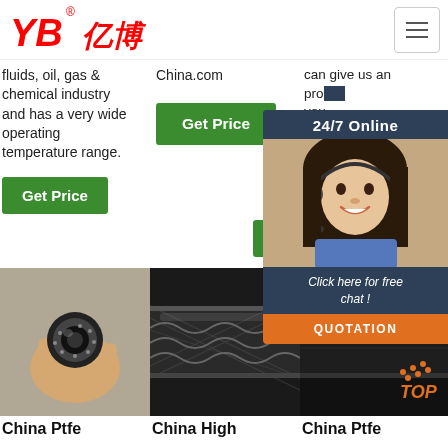[Figure (logo): YB亿博 company logo in red italic text]
fluids, oil, gas & chemical industry and has a very wide operating temperature range.
China.com
can give us an pro... you bes
[Figure (illustration): Chat widget overlay with 24/7 Online header, smiling woman with headset, Click here for free chat!, and QUOTATION button]
[Figure (photo): Get Price green button in column 1]
[Figure (photo): Get Price green button in column 2]
[Figure (photo): Product image 1 - hand holding rubber hose cross section]
[Figure (photo): Product image 2 - black braided hydraulic hose]
[Figure (photo): Product image 3 - black smooth hydraulic hose]
China Ptfe
China High
China Ptfe